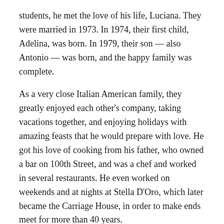students, he met the love of his life, Luciana. They were married in 1973. In 1974, their first child, Adelina, was born. In 1979, their son — also Antonio — was born, and the happy family was complete.
As a very close Italian American family, they greatly enjoyed each other's company, taking vacations together, and enjoying holidays with amazing feasts that he would prepare with love. He got his love of cooking from his father, who owned a bar on 100th Street, and was a chef and worked in several restaurants. He even worked on weekends and at nights at Stella D'Oro, which later became the Carriage House, in order to make ends meet for more than 40 years.
Longtime residents of Riverdale may recall Stella D'Oro (yes, the maker of Swiss fudge cookies), and the great Italian restaurant.